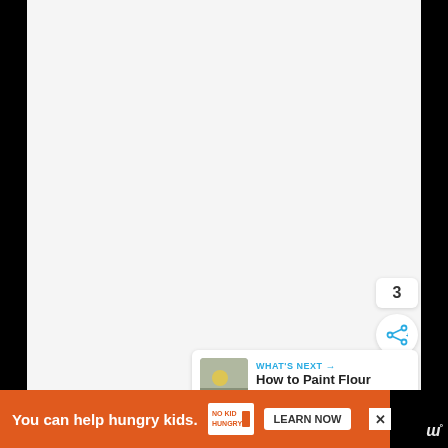[Figure (screenshot): Large light gray empty content area (main page content region of a website)]
[Figure (infographic): Blue circular like/heart button with heart icon, count of 3, and share button below]
3
WHAT'S NEXT →
How to Paint Flour Sack...
[Figure (infographic): Advertisement bar: orange background with text 'You can help hungry kids.' No Kid Hungry logo, LEARN NOW button, and close X button. Watermark logo on right.]